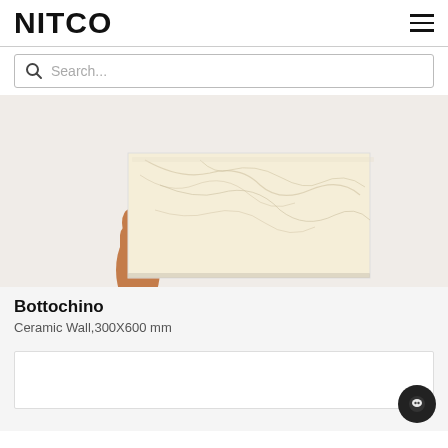NITCO
Search...
[Figure (photo): A hand holding up a large cream/beige marble-look ceramic wall tile against a white background. The tile has subtle grey veining patterns typical of Bottochino marble style.]
Bottochino
Ceramic Wall,300X600 mm